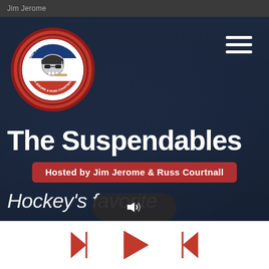Jim Jerome
[Figure (logo): The Suspendables circular logo with skull wearing hockey helmet and sunglasses, text: THE SUSPENDABLES, JIM JEROME & RUSS COURTNALL]
The Suspendables
Hosted by Jim Jerome & Russ Courtnall
Hockey's favorite
[Figure (screenshot): Media player controls: back, play, forward buttons with volume pill overlay]